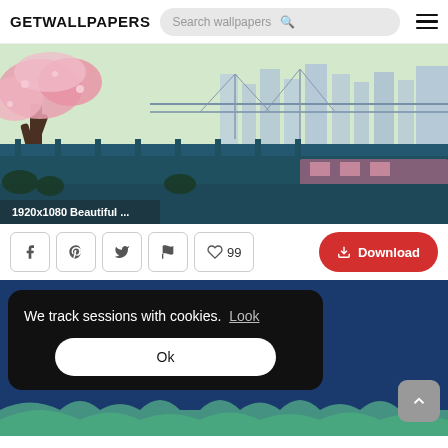GETWALLPAPERS
[Figure (screenshot): Pixel art wallpaper showing a cherry blossom tree, bridge, buildings, and a cat in a city scene]
1920x1080 Beautiful ...
99
Download
[Figure (screenshot): Second wallpaper background with dark blue sky and mountains]
We track sessions with cookies. Look
Ok